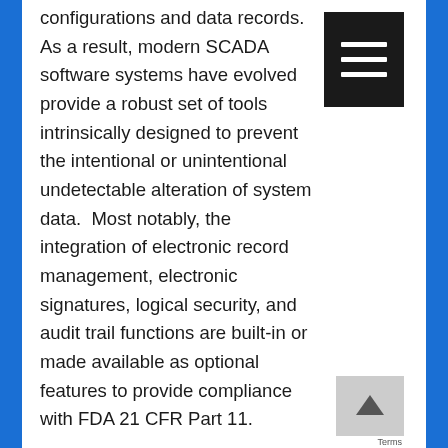configurations and data records. As a result, modern SCADA software systems have evolved provide a robust set of tools intrinsically designed to prevent the intentional or unintentional undetectable alteration of system data.  Most notably, the integration of electronic record management, electronic signatures, logical security, and audit trail functions are built-in or made available as optional features to provide compliance with FDA 21 CFR Part 11.
The front line defense is, of course, the security of the process network.  Physical security of all network components should be considered in the design of the system.  Production facilities, system servers, network switches, PLCs, IO modules, process instrumentation, and where possible, production workstation terminals should be kept